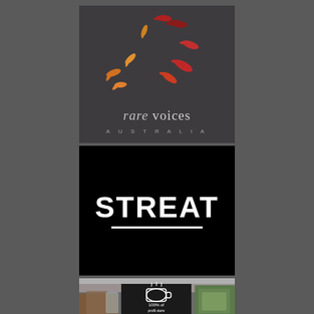[Figure (logo): Rare Voices Australia logo: dark charcoal background with colorful birds (orange, red, dark red) flying in a circular arc pattern, text 'rare voices' in light serif font and 'AUSTRALIA' in small spaced caps below]
[Figure (logo): STREAT logo: black background with bold white all-caps text 'STREAT' and a white underline beneath the text]
[Figure (photo): Photo of a STREAT cafe scene showing a dark chalkboard sign with a coffee cup illustration and text '100% of profit store', with cafe equipment and items visible in the background]